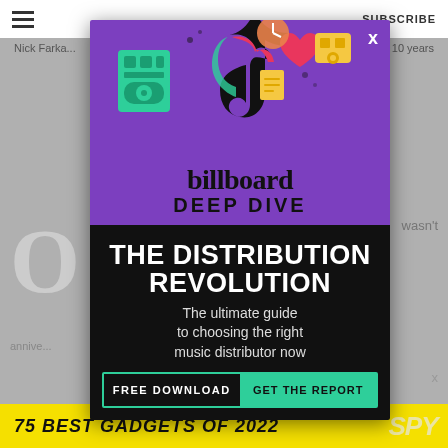≡   SUBSCRIBE
Nick Farka...   ...es 10 years
[Figure (infographic): Billboard Deep Dive ad overlay with TikTok-themed illustration on purple background, showing various social media and music icons. Below is black background with headline 'THE DISTRIBUTION REVOLUTION', subheadline 'The ultimate guide to choosing the right music distributor now', and CTA buttons 'FREE DOWNLOAD | GET THE REPORT']
75 BEST GADGETS OF 2022
SPY